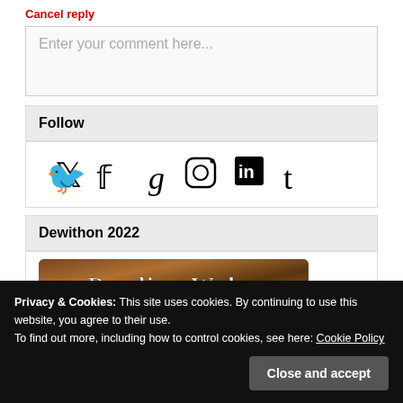Cancel reply
Enter your comment here...
Follow
[Figure (other): Social media icons: Twitter, Facebook, Goodreads, Instagram, LinkedIn, Tumblr]
Dewithon 2022
[Figure (photo): Dewithon 2022 banner image with decorative text overlay]
Privacy & Cookies: This site uses cookies. By continuing to use this website, you agree to their use.
To find out more, including how to control cookies, see here: Cookie Policy
Close and accept